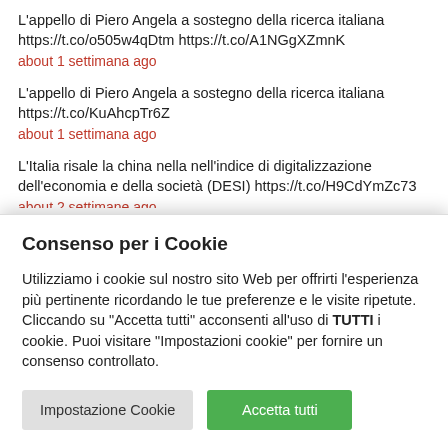L'appello di Piero Angela a sostegno della ricerca italiana https://t.co/o505w4qDtm https://t.co/A1NGgXZmnK
about 1 settimana ago
L'appello di Piero Angela a sostegno della ricerca italiana https://t.co/KuAhcpTr6Z
about 1 settimana ago
L'Italia risale la china nella nell'indice di digitalizzazione dell'economia e della società (DESI) https://t.co/H9CdYmZc73
about 2 settimane ago
Consenso per i Cookie
Utilizziamo i cookie sul nostro sito Web per offrirti l'esperienza più pertinente ricordando le tue preferenze e le visite ripetute. Cliccando su "Accetta tutti" acconsenti all'uso di TUTTI i cookie. Puoi visitare "Impostazioni cookie" per fornire un consenso controllato.